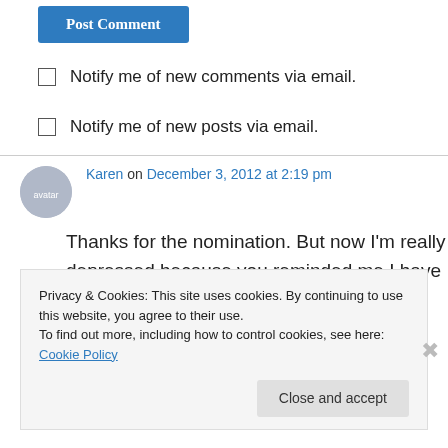Post Comment
Notify me of new comments via email.
Notify me of new posts via email.
Karen on December 3, 2012 at 2:19 pm
Thanks for the nomination. But now I'm really depressed because you reminded me I have less than 200 followers . . .
Privacy & Cookies: This site uses cookies. By continuing to use this website, you agree to their use.
To find out more, including how to control cookies, see here: Cookie Policy
Close and accept